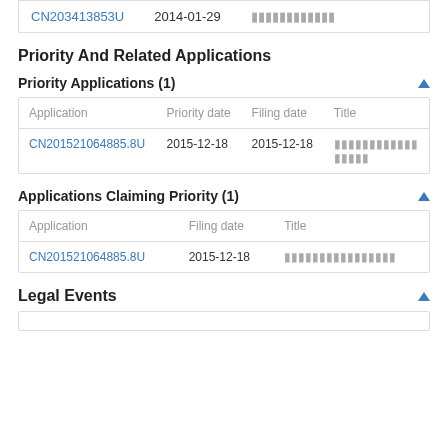| Application | Date | Title |
| --- | --- | --- |
| CN203413853U | 2014-01-29 | （Chinese characters） |
Priority And Related Applications
Priority Applications (1)
| Application | Priority date | Filing date | Title |
| --- | --- | --- | --- |
| CN201521064885.8U | 2015-12-18 | 2015-12-18 | （Chinese characters） |
Applications Claiming Priority (1)
| Application | Filing date | Title |
| --- | --- | --- |
| CN201521064885.8U | 2015-12-18 | （Chinese characters） |
Legal Events